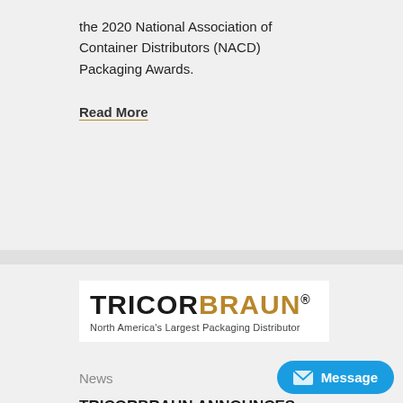the 2020 National Association of Container Distributors (NACD) Packaging Awards.
Read More
[Figure (logo): TricorBraun logo — TRICOR in black bold, BRAUN in gold/brown bold, with registered trademark symbol. Tagline: North America's Largest Packaging Distributor]
News
TRICORBRAUN ANNOUNCES 2019 SUPPLIER PARTNER AWARDS
Learn more about Altira, Boda and Saudi Arabian Glass winning 2019 Supplier Partner